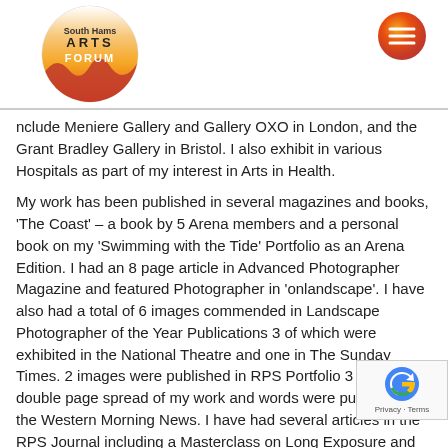[Figure (logo): South Hams Arts Forum logo — circular badge with gradient from orange/red at bottom to white at top, text 'South Hams ARTS FORUM' inside]
[Figure (illustration): Orange/red circular menu hamburger icon in top right corner]
nclude Meniere Gallery and Gallery OXO in London, and the Grant Bradley Gallery in Bristol. I also exhibit in various Hospitals as part of my interest in Arts in Health.
My work has been published in several magazines and books,  'The Coast' – a book by 5 Arena members and a personal book on my 'Swimming with the Tide' Portfolio as an Arena Edition. I had an 8 page article in Advanced Photographer Magazine and featured Photographer in 'onlandscape'. I have also had a total of 6 images commended in Landscape Photographer of the Year Publications 3 of which were exhibited in the National Theatre and one in The Sunday Times. 2 images were published in RPS Portfolio 3 and  a double page spread of my work and words were published in the Western Morning News. I have had several articles in the RPS Journal including a Masterclass on Long Exposure and recently an article on my 2nd Fellowship.